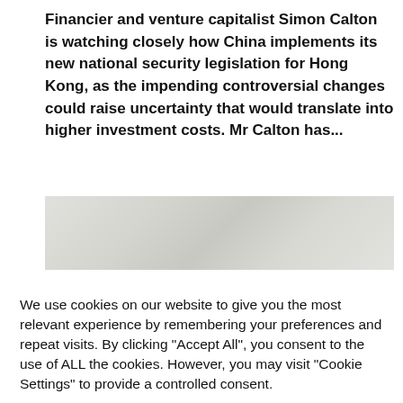Financier and venture capitalist Simon Calton is watching closely how China implements its new national security legislation for Hong Kong, as the impending controversial changes could raise uncertainty that would translate into higher investment costs. Mr Calton has...
[Figure (photo): A light gray textured background image, possibly a stone or paper texture.]
We use cookies on our website to give you the most relevant experience by remembering your preferences and repeat visits. By clicking "Accept All", you consent to the use of ALL the cookies. However, you may visit "Cookie Settings" to provide a controlled consent.